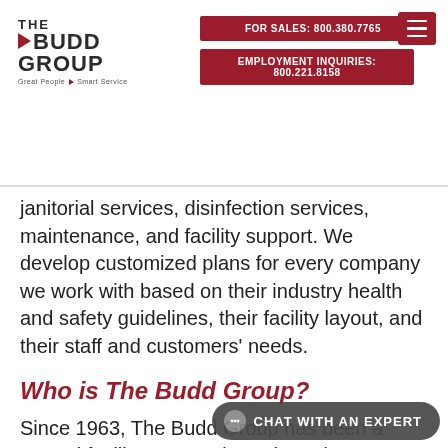THE BUDD GROUP — Great People Smart Service | FOR SALES: 800.380.7765 | EMPLOYMENT INQUIRIES: 800.221.8158 | FIND A JOB
janitorial services, disinfection services, maintenance, and facility support. We develop customized plans for every company we work with based on their industry health and safety guidelines, their facility layout, and their staff and customers' needs.
Who is The Budd Group?
Since 1963, The Budd Group has been a trusted facility partner throughout the Southeast. Our teams are trained to the highest standards of safety, compliance, and eco-friendliness. We offer the following services to keep your business safe, effici...
Janitorial Services: We plan and complete all janitorial...